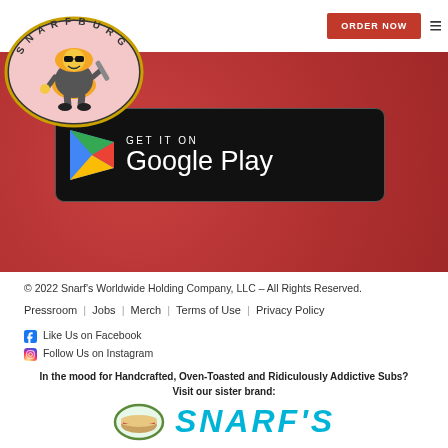Snarfburger navigation bar with ORDER NOW button and hamburger menu
[Figure (logo): Snarfburger mascot logo — cartoon hamburger character with sunglasses holding a spatula, inside an oval with text SNARFBURGER around top]
[Figure (illustration): Get it on Google Play badge — black rounded rectangle with Google Play triangle logo and text GET IT ON / Google Play]
© 2022 Snarf's Worldwide Holding Company, LLC – All Rights Reserved.
Pressroom | Jobs | Merch | Terms of Use | Privacy Policy
Like Us on Facebook
Follow Us on Instagram
In the mood for Handcrafted, Oven-Toasted and Ridiculously Addictive Subs? Visit our sister brand:
[Figure (logo): Snarf's sub sandwich sister brand logo — partially visible at bottom with teal/cyan stylized SNARF'S text]